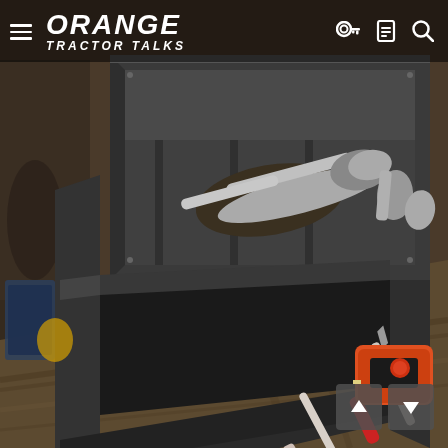[Figure (photo): Workshop scene showing metal fabrication work in progress. A steel rectangular frame/box is being assembled on a workbench. Inside an upper drawer or tray are various clamps and hand tools including locking pliers and C-clamps. On the lower workbench surface below the frame are a screwdriver with red handle and a bright orange tape measure. The background shows a cluttered workshop with additional tools and equipment.]
ORANGE TRACTOR TALKS